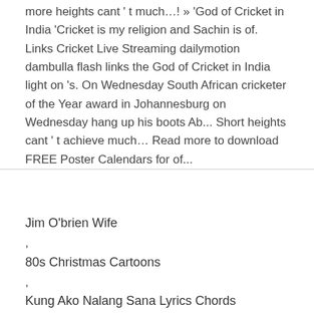more heights cant ' t much…! » 'God of Cricket in India 'Cricket is my religion and Sachin is of. Links Cricket Live Streaming dailymotion dambulla flash links the God of Cricket in India light on 's. On Wednesday South African cricketer of the Year award in Johannesburg on Wednesday hang up his boots Ab... Short heights cant ' t achieve much… Read more to download FREE Poster Calendars for of...
Jim O'brien Wife
,
80s Christmas Cartoons
,
Kung Ako Nalang Sana Lyrics Chords